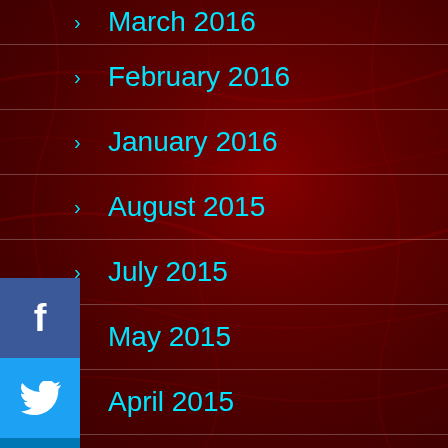March 2016
February 2016
January 2016
August 2015
July 2015
May 2015
April 2015
March 2015
February 2015
January 2015
[Figure (infographic): Social sharing sidebar with Facebook, Twitter, LinkedIn, and Pinterest buttons stacked vertically on the left side]